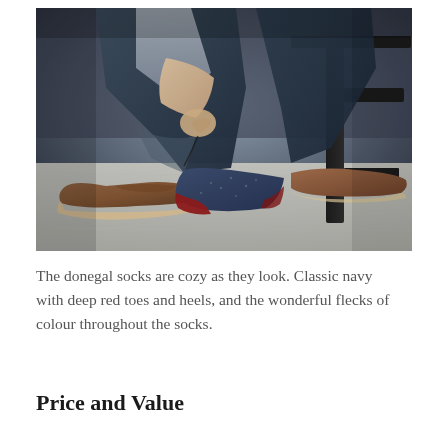[Figure (photo): Person sitting on a stool lacing up brown leather shoes, wearing dark navy blue donegal socks with a deep red toe and heel, and rolled-up dark jeans. Viewed from below the knees, on a light grey carpet floor.]
The donegal socks are cozy as they look. Classic navy with deep red toes and heels, and the wonderful flecks of colour throughout the socks.
Price and Value